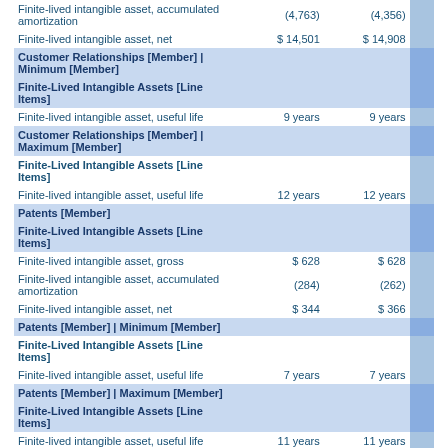|  | Value1 | Value2 |  |
| --- | --- | --- | --- |
| Finite-lived intangible asset, accumulated amortization | (4,763) | (4,356) |  |
| Finite-lived intangible asset, net | $ 14,501 | $ 14,908 |  |
| Customer Relationships [Member] | Minimum [Member] |  |  |  |
| Finite-Lived Intangible Assets [Line Items] |  |  |  |
| Finite-lived intangible asset, useful life | 9 years | 9 years |  |
| Customer Relationships [Member] | Maximum [Member] |  |  |  |
| Finite-Lived Intangible Assets [Line Items] |  |  |  |
| Finite-lived intangible asset, useful life | 12 years | 12 years |  |
| Patents [Member] |  |  |  |
| Finite-Lived Intangible Assets [Line Items] |  |  |  |
| Finite-lived intangible asset, gross | $ 628 | $ 628 |  |
| Finite-lived intangible asset, accumulated amortization | (284) | (262) |  |
| Finite-lived intangible asset, net | $ 344 | $ 366 |  |
| Patents [Member] | Minimum [Member] |  |  |  |
| Finite-Lived Intangible Assets [Line Items] |  |  |  |
| Finite-lived intangible asset, useful life | 7 years | 7 years |  |
| Patents [Member] | Maximum [Member] |  |  |  |
| Finite-Lived Intangible Assets [Line Items] |  |  |  |
| Finite-lived intangible asset, useful life | 11 years | 11 years |  |
| Technology [Member] |  |  |  |
| Finite-Lived Intangible Assets [Line Items] |  |  |  |